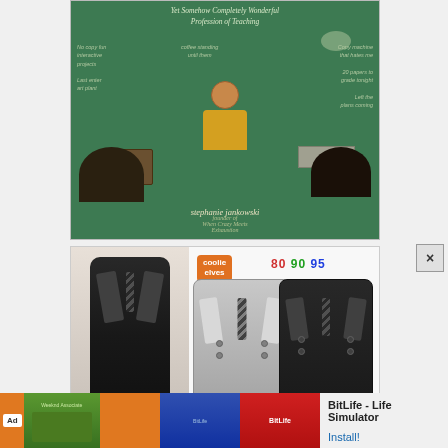[Figure (illustration): Book cover illustration: 'Yet Somehow Completely Wonderful Profession of Teaching' by Stephanie Jankowski, founder of When Crazy Meets Exhaustion. Shows a female teacher at desk with students in foreground, on green chalkboard background with handwritten notes.]
[Figure (photo): Product photo of baby/toddler formal romper suits. Shows 'Coolie Elves' brand, sizes 80 90 95. Gray tuxedo-style romper and black tuxedo-style romper displayed, with baby model wearing black version on left.]
[Figure (infographic): Mobile advertisement banner for 'BitLife - Life Simulator' app with Install button. Shows Ad badge, green game screenshot, blue screenshot, BitLife red logo icon. Orange background on left portion.]